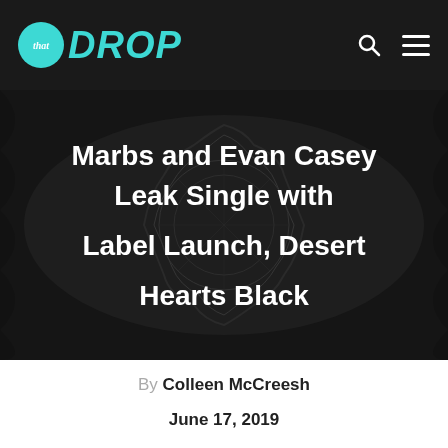that DROP
[Figure (photo): Dark abstract background with a wavy mandala/geometric shape in the center, with large white bold text overlay reading: Marbs and Evan Casey Leak Single with Label Launch, Desert Hearts Black]
Marbs and Evan Casey Leak Single with Label Launch, Desert Hearts Black
By Colleen McCreesh
June 17, 2019